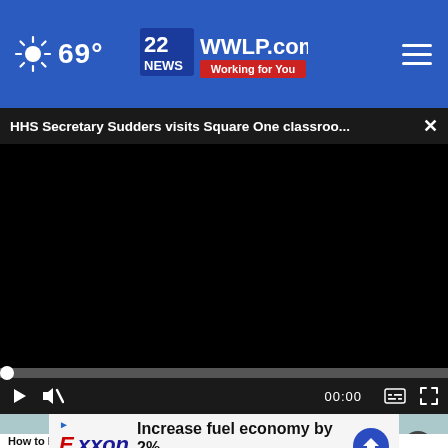69° — 22News WWLP.com Working for You
HHS Secretary Sudders visits Square One classroo...
[Figure (screenshot): Black video player area showing paused video, 00:00 timestamp, play button, mute button, captions button, and fullscreen button on dark controls bar]
[Figure (photo): Partial image of a person with dark hair touching their chin, on a teal/grey background]
Increase fuel economy by 2%
Exxon
Exxon advertisement banner